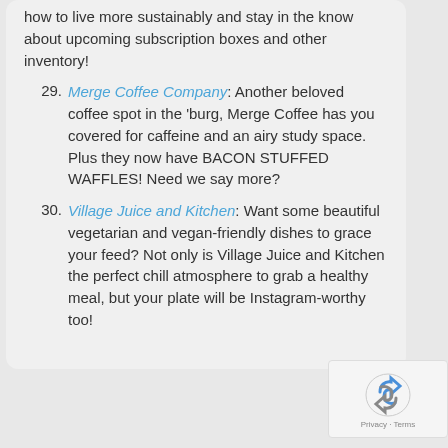how to live more sustainably and stay in the know about upcoming subscription boxes and other inventory!
29. Merge Coffee Company: Another beloved coffee spot in the 'burg, Merge Coffee has you covered for caffeine and an airy study space. Plus they now have BACON STUFFED WAFFLES! Need we say more?
30. Village Juice and Kitchen: Want some beautiful vegetarian and vegan-friendly dishes to grace your feed? Not only is Village Juice and Kitchen the perfect chill atmosphere to grab a healthy meal, but your plate will be Instagram-worthy too!